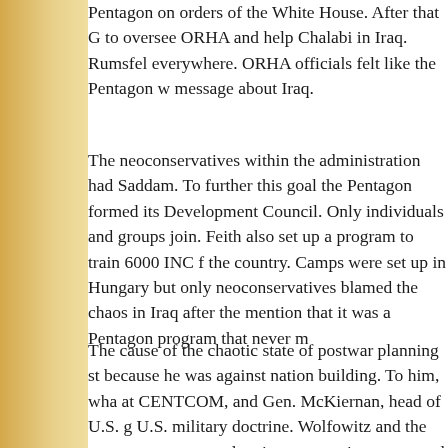Pentagon on orders of the White House. After that G to oversee ORHA and help Chalabi in Iraq. Rumsfel everywhere. ORHA officials felt like the Pentagon w message about Iraq.
The neoconservatives within the administration had Saddam. To further this goal the Pentagon formed its Development Council. Only individuals and groups join. Feith also set up a program to train 6000 INC f the country. Camps were set up in Hungary but only neoconservatives blamed the chaos in Iraq after the mention that it was a Pentagon program that never m
The cause of the chaotic state of postwar planning st because he was against nation building. To him, wha at CENTCOM, and Gen. McKiernan, head of U.S. g U.S. military doctrine. Wolfowitz and the neoconser postwar planning was not important and even consid